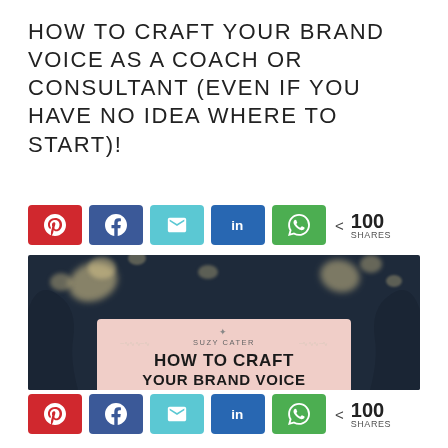HOW TO CRAFT YOUR BRAND VOICE AS A COACH OR CONSULTANT (EVEN IF YOU HAVE NO IDEA WHERE TO START)!
[Figure (infographic): Social share buttons row (Pinterest red, Facebook blue, Email cyan, LinkedIn dark blue, WhatsApp green) with share count: < 100 SHARES]
[Figure (photo): Book cover image for 'How to Craft Your Brand Voice' by Suzy Cater, dark navy background with gold paint splashes and two silhouettes, pink/blush card with title text visible]
[Figure (infographic): Social share buttons row (Pinterest red, Facebook blue, Email cyan, LinkedIn dark blue, WhatsApp green) with share count: < 100 SHARES]